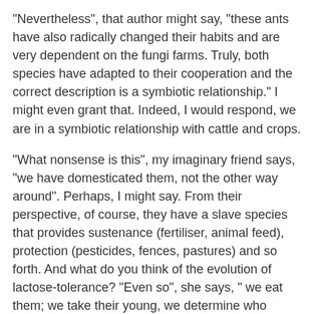"Nevertheless", that author might say, "these ants have also radically changed their habits and are very dependent on the fungi farms. Truly, both species have adapted to their cooperation and the correct description is a symbiotic relationship." I might even grant that. Indeed, I would respond, we are in a symbiotic relationship with cattle and crops.
"What nonsense is this", my imaginary friend says, "we have domesticated them, not the other way around". Perhaps, I might say. From their perspective, of course, they have a slave species that provides sustenance (fertiliser, animal feed), protection (pesticides, fences, pastures) and so forth. And what do you think of the evolution of lactose-tolerance? "Even so", she says, " we eat them; we take their young, we determine who reproduces. Clearly, we are dominant and I conclude they are domesticated by us". I